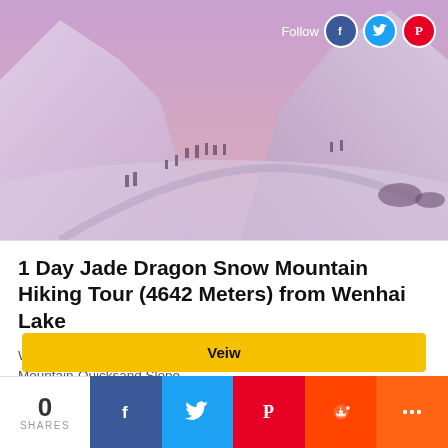[Figure (photo): Snowy mountain landscape with hikers/skiers visible on a snow-covered slope, purple/pink sky tones. Social media follow buttons (Facebook, Twitter, Pinterest) and 'Follow' text overlaid in top-right corner.]
1 Day Jade Dragon Snow Mountain Hiking Tour (4642 Meters) from Wenhai Lake
Wenhai Lake-Spruce Forest-Grass Meadow-Jade Dragon Snow Mountain-Quicksand Slope
Day Tours
Veiw
0
SHARES